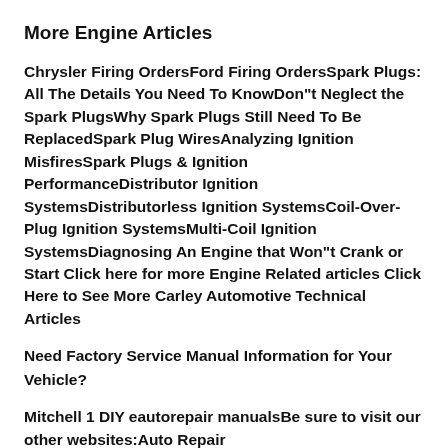More Engine Articles
Chrysler Firing OrdersFord Firing OrdersSpark Plugs: All The Details You Need To KnowDon"t Neglect the Spark PlugsWhy Spark Plugs Still Need To Be ReplacedSpark Plug WiresAnalyzing Ignition MisfiresSpark Plugs & Ignition PerformanceDistributor Ignition SystemsDistributorless Ignition SystemsCoil-Over-Plug Ignition SystemsMulti-Coil Ignition SystemsDiagnosing An Engine that Won"t Crank or Start Click here for more Engine Related articles Click Here to See More Carley Automotive Technical Articles
Need Factory Service Manual Information for Your Vehicle?
Mitchell 1 DIY eautorepair manualsBe sure to visit our other websites:Auto Repair